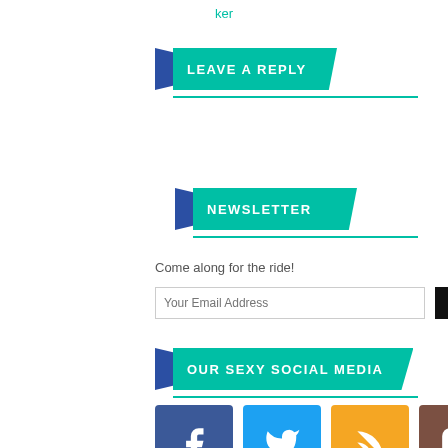ker
LEAVE A REPLY
NEWSLETTER
Come along for the ride!
Your Email Address [input field] Submit [button]
OUR SEXY SOCIAL MEDIA
[Figure (infographic): Four social media icons: Facebook (blue), Twitter (light blue), RSS (orange), Instagram (brown)]